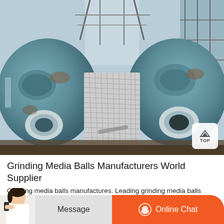[Figure (photo): Industrial ball mill machines — two large blue cylindrical grinding mills on either side of a central metal grate walkway, inside a factory/industrial facility with steel framework visible overhead.]
Grinding Media Balls Manufacturers World Supplier
Grinding media balls manufactures. Leading grinding media balls manufacturers and suppliers offer a wide range of balls in various materials. These include ceramic grinding balls which are ideal for use where non-fe...